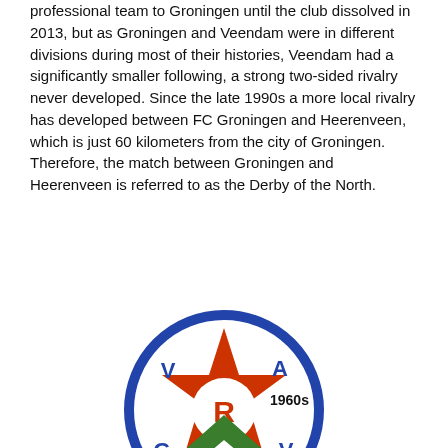professional team to Groningen until the club dissolved in 2013, but as Groningen and Veendam were in different divisions during most of their histories, Veendam had a significantly smaller following, a strong two-sided rivalry never developed. Since the late 1990s a more local rivalry has developed between FC Groningen and Heerenveen, which is just 60 kilometers from the city of Groningen. Therefore, the match between Groningen and Heerenveen is referred to as the Derby of the North.
[Figure (logo): GVAV football club logo from the 1960s: a blue circle outline with letters V, A, G, V around a central red five-pointed star, with a white circle in the center containing the letter R, and a blue dot at the bottom.]
1960s
[Figure (logo): Partial view of a green chevron/arrow shape pointing upward, part of a football club logo.]